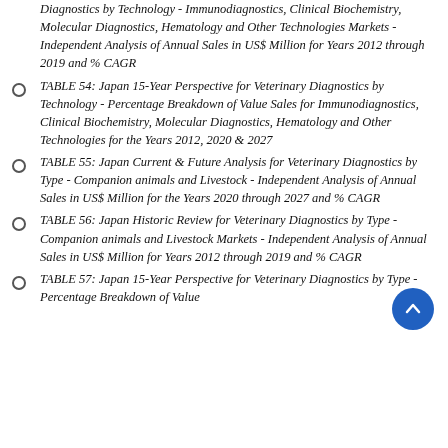Diagnostics by Technology - Immunodiagnostics, Clinical Biochemistry, Molecular Diagnostics, Hematology and Other Technologies Markets - Independent Analysis of Annual Sales in US$ Million for Years 2012 through 2019 and % CAGR
TABLE 54: Japan 15-Year Perspective for Veterinary Diagnostics by Technology - Percentage Breakdown of Value Sales for Immunodiagnostics, Clinical Biochemistry, Molecular Diagnostics, Hematology and Other Technologies for the Years 2012, 2020 & 2027
TABLE 55: Japan Current & Future Analysis for Veterinary Diagnostics by Type - Companion animals and Livestock - Independent Analysis of Annual Sales in US$ Million for the Years 2020 through 2027 and % CAGR
TABLE 56: Japan Historic Review for Veterinary Diagnostics by Type - Companion animals and Livestock Markets - Independent Analysis of Annual Sales in US$ Million for Years 2012 through 2019 and % CAGR
TABLE 57: Japan 15-Year Perspective for Veterinary Diagnostics by Type - Percentage Breakdown of Value Sales for Companion animals and Livestock for the Years 2012, 2020 & 2027